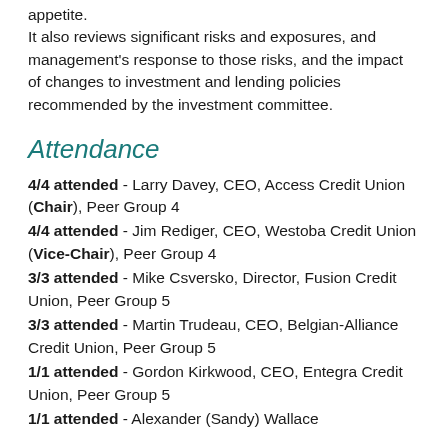appetite. It also reviews significant risks and exposures, and management's response to those risks, and the impact of changes to investment and lending policies recommended by the investment committee.
Attendance
4/4 attended - Larry Davey, CEO, Access Credit Union (Chair), Peer Group 4
4/4 attended - Jim Rediger, CEO, Westoba Credit Union (Vice-Chair), Peer Group 4
3/3 attended - Mike Csversko, Director, Fusion Credit Union, Peer Group 5
3/3 attended - Martin Trudeau, CEO, Belgian-Alliance Credit Union, Peer Group 5
1/1 attended - Gordon Kirkwood, CEO, Entegra Credit Union, Peer Group 5
1/1 attended - Alexander (Sandy) Wallace